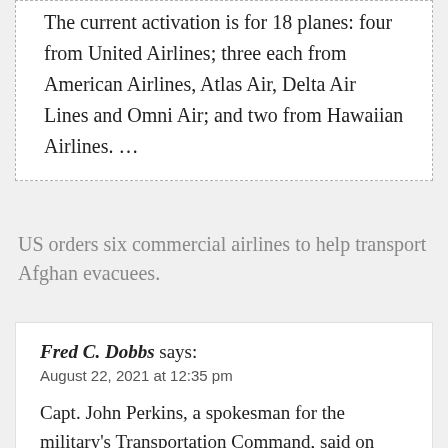The current activation is for 18 planes: four from United Airlines; three each from American Airlines, Atlas Air, Delta Air Lines and Omni Air; and two from Hawaiian Airlines. …
US orders six commercial airlines to help transport Afghan evacuees.
Fred C. Dobbs says: August 22, 2021 at 12:35 pm
Capt. John Perkins, a spokesman for the military's Transportation Command, said on Sunday that the commercial airliners would begin service on Monday or Tuesday and that they would fly evacuees both from the Middle